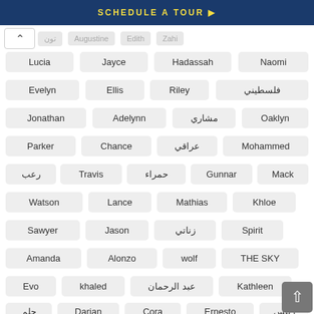[Figure (screenshot): Blue banner with 'SCHEDULE A TOUR ▶' text in yellow]
تون
Augustine
Edith
Zahi
Lucia
Jayce
Hadassah
Naomi
Evelyn
Ellis
Riley
فلسطيني
Jonathan
Adelynn
مشاري
Oaklyn
Parker
Chance
عراقي
Mohammed
رعب
Travis
حمراء
Gunnar
Mack
Watson
Lance
Mathias
Khloe
Sawyer
Jason
زناتي
Spirit
Amanda
Alonzo
wolf
THE SKY
Evo
khaled
عبد الرحمان
Kathleen
حلم
Darian
Cora
Ernesto
رئيس